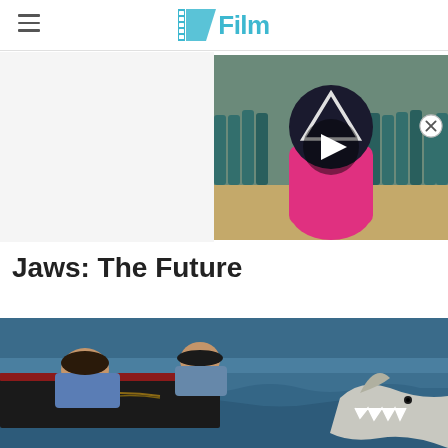/Film
[Figure (screenshot): Video thumbnail showing Squid Game scene with person in pink hoodie and triangle mask, with play button overlay. Close button (X in circle) in top right corner.]
Jaws: The Future
[Figure (photo): Scene from the movie Jaws showing two men leaning over the side of a boat looking at a great white shark emerging from the ocean water.]